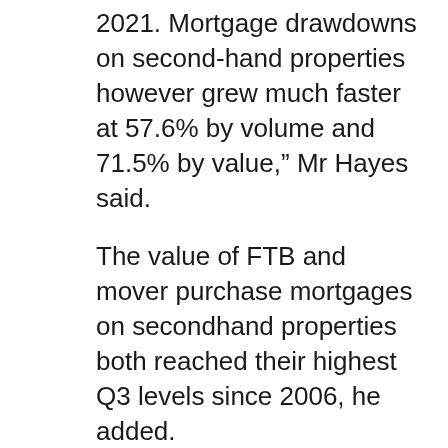2021. Mortgage drawdowns on second-hand properties however grew much faster at 57.6% by volume and 71.5% by value," Mr Hayes said.
The value of FTB and mover purchase mortgages on secondhand properties both reached their highest Q3 levels since 2006, he added.
“This underlines the severe limitations we have seen on the construction industry during the pandemic which is having a clear impact on supply. With all residential construction now underway again the challenge remains how to satisfy the strong demand for housing, clearly evident in today’s figures, with the continued pressure which has been growing on supply,” he added.